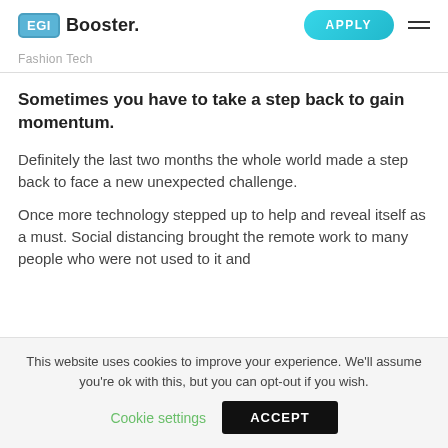EGI Booster. APPLY
Fashion Tech
Sometimes you have to take a step back to gain momentum.
Definitely the last two months the whole world made a step back to face a new unexpected challenge.
Once more technology stepped up to help and reveal itself as a must. Social distancing brought the remote work to many people who were not used to it and
This website uses cookies to improve your experience. We'll assume you're ok with this, but you can opt-out if you wish.